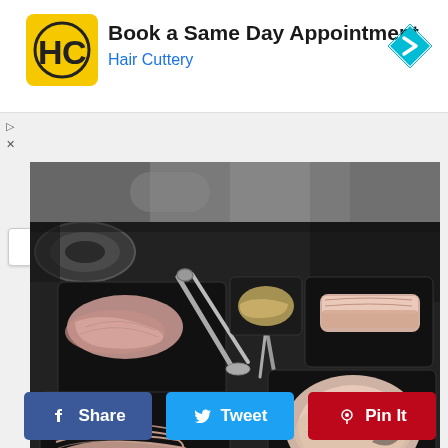[Figure (other): Hair Cuttery advertisement banner with logo, 'Book a Same Day Appointment' headline, 'Hair Cuttery' subtext in blue, and a blue navigation arrow icon on the right]
[Figure (photo): Korean BBQ raw meat assortment on black plates: sliced pork belly, marinated pork strips with vegetables, thick pork loin slices, and thinner cuts with metal tongs and scissors on a dark grill table]
[Figure (photo): Partial strip at top showing a blurred kitchen/cooking surface background]
Share
Tweet
Pin It